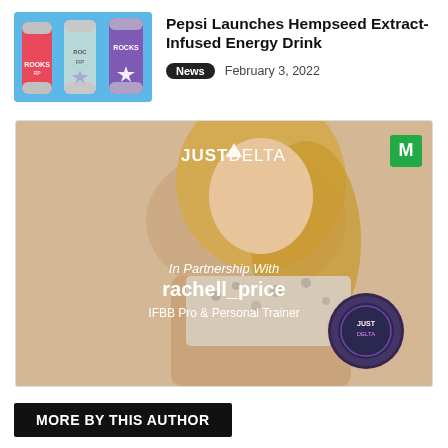[Figure (photo): Rockstar energy drink cans (ROCKSB brand) with blue background, showing multiple colorful cans]
Pepsi Launches Hempseed Extract-Infused Energy Drink
News   February 3, 2022
[Figure (photo): Advertisement for Just Delta featuring rachell_price, IFBB Pro & Personal Trainer, holding a Just Delta product container while wearing a leopard print bikini top. Green M badge in top right corner.]
MORE BY THIS AUTHOR